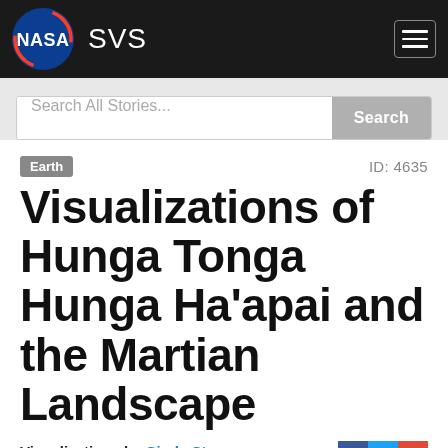NASA SVS
Search All Stories...
Earth   ID: 4635
Visualizations of Hunga Tonga Hunga Ha'apai and the Martian Landscape
Visualizations by Cindy Starr Released on June 15, 2018